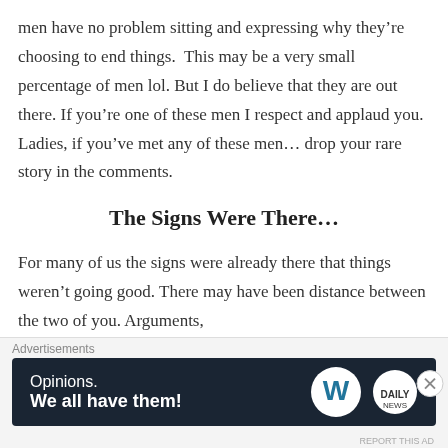men have no problem sitting and expressing why they're choosing to end things.  This may be a very small percentage of men lol. But I do believe that they are out there. If you're one of these men I respect and applaud you. Ladies, if you've met any of these men… drop your rare story in the comments.
The Signs Were There…
For many of us the signs were already there that things weren't going good. There may have been distance between the two of you. Arguments,
Advertisements
[Figure (other): WordPress advertisement banner with text 'Opinions. We all have them!' and WordPress and DNS logos on dark navy background]